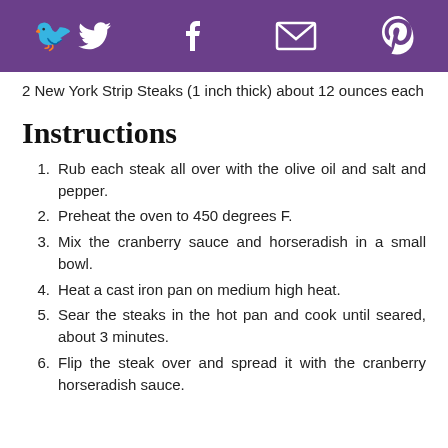[Social share icons: Twitter, Facebook, Email, Pinterest]
2 New York Strip Steaks (1 inch thick) about 12 ounces each
Instructions
1. Rub each steak all over with the olive oil and salt and pepper.
2. Preheat the oven to 450 degrees F.
3. Mix the cranberry sauce and horseradish in a small bowl.
4. Heat a cast iron pan on medium high heat.
5. Sear the steaks in the hot pan and cook until seared, about 3 minutes.
6. Flip the steak over and spread it with the cranberry horseradish sauce.